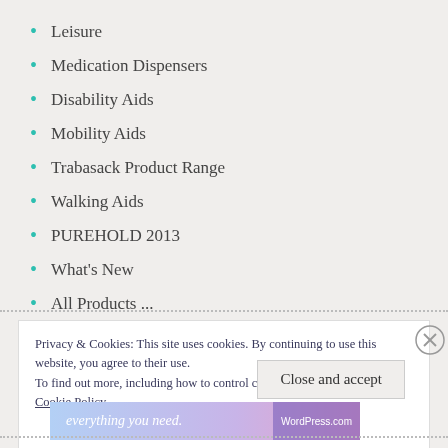Leisure
Medication Dispensers
Disability Aids
Mobility Aids
Trabasack Product Range
Walking Aids
PUREHOLD 2013
What's New
All Products ...
Privacy & Cookies: This site uses cookies. By continuing to use this website, you agree to their use.
To find out more, including how to control cookies, see here:
Cookie Policy
Close and accept
[Figure (other): WordPress.com advertisement banner with text 'everything you need.']